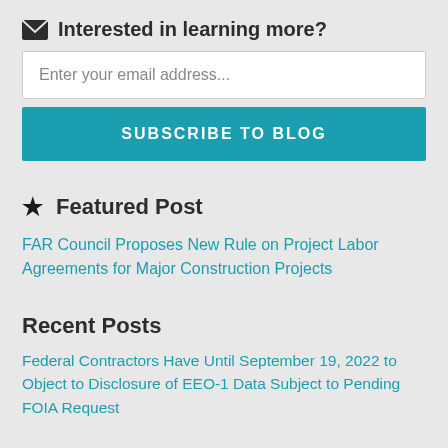Interested in learning more?
Enter your email address...
SUBSCRIBE TO BLOG
Featured Post
FAR Council Proposes New Rule on Project Labor Agreements for Major Construction Projects
Recent Posts
Federal Contractors Have Until September 19, 2022 to Object to Disclosure of EEO-1 Data Subject to Pending FOIA Request